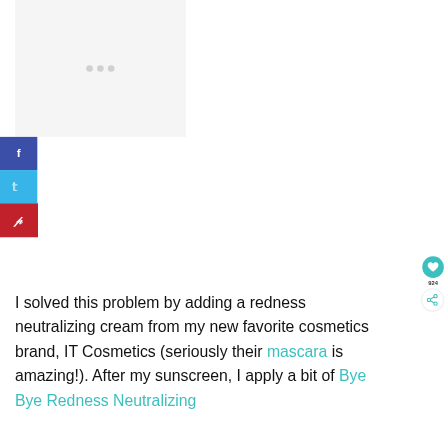[Figure (other): Advertisement placeholder area with light gray background and three gray dots in the center]
[Figure (other): Social media share sidebar with Facebook (dark blue), Twitter (light blue), and Pinterest (red) buttons with white icons]
[Figure (other): Floating teal heart/like button with count 924 and share button below]
I solved this problem by adding a redness neutralizing cream from my new favorite cosmetics brand, IT Cosmetics (seriously their mascara is amazing!). After my sunscreen, I apply a bit of Bye Bye Redness Neutralizing